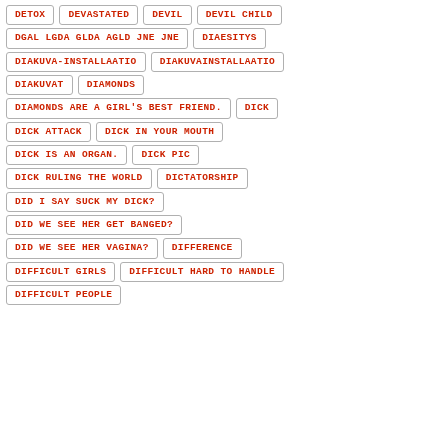DETOX
DEVASTATED
DEVIL
DEVIL CHILD
DGAL LGDA GLDA AGLD JNE JNE
DIAESITYS
DIAKUVA-INSTALLAATIO
DIAKUVAINSTALLAATIO
DIAKUVAT
DIAMONDS
DIAMONDS ARE A GIRL'S BEST FRIEND.
DICK
DICK ATTACK
DICK IN YOUR MOUTH
DICK IS AN ORGAN.
DICK PIC
DICK RULING THE WORLD
DICTATORSHIP
DID I SAY SUCK MY DICK?
DID WE SEE HER GET BANGED?
DID WE SEE HER VAGINA?
DIFFERENCE
DIFFICULT GIRLS
DIFFICULT HARD TO HANDLE
DIFFICULT PEOPLE